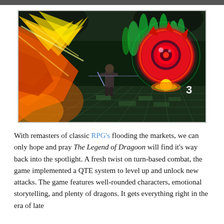[Figure (screenshot): A game screenshot from The Legend of Dragoon showing a battle scene with a large orange/red creature on the left with glowing wings, a character warrior in the middle, and a large red eye-like boss creature on the right, with green flames and a dark dungeon floor with glowing tiles.]
With remasters of classic RPG's flooding the markets, we can only hope and pray The Legend of Dragoon will find it's way back into the spotlight. A fresh twist on turn-based combat, the game implemented a QTE system to level up and unlock new attacks. The game features well-rounded characters, emotional storytelling, and plenty of dragons. It gets everything right in the era of late